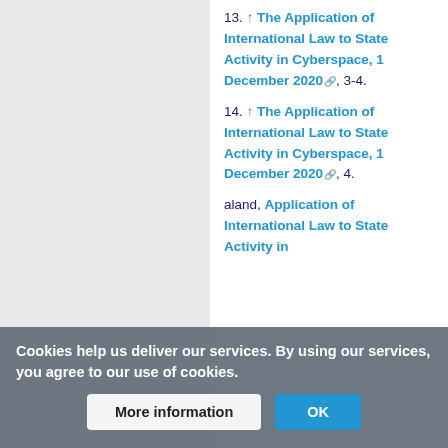13. ↑ The Application of International Law to State Activity in Cyberspace, 1 December 2020, 3-4.
14. ↑ The Application of International Law to State Activity in Cyberspace, 1 December 2020, 4.
Cookies help us deliver our services. By using our services, you agree to our use of cookies.